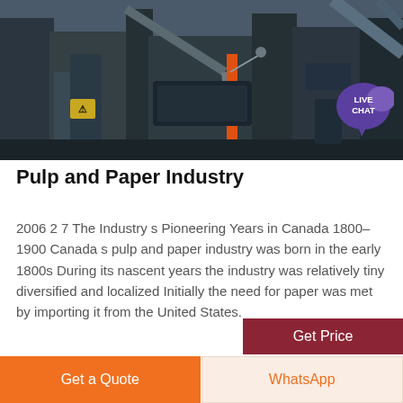[Figure (photo): Industrial pulp and paper mill machinery — heavy steel structures, conveyors, and equipment in a large industrial facility. A 'LIVE CHAT' badge overlays the top-right corner.]
Pulp and Paper Industry
2006 2 7 The Industry s Pioneering Years in Canada 1800–1900 Canada s pulp and paper industry was born in the early 1800s During its nascent years the industry was relatively tiny diversified and localized Initially the need for paper was met by importing it from the United States.
Get Price
Get a Quote
WhatsApp